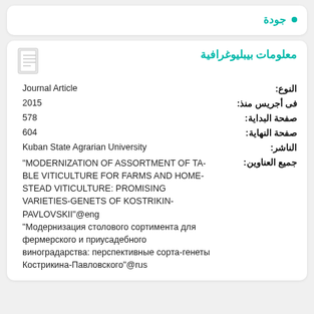جودة
معلومات بيبليوغرافية
| Field | Value |
| --- | --- |
| النوع: | Journal Article |
| فى أجريس منذ: | 2015 |
| صفحة البداية: | 578 |
| صفحة النهاية: | 604 |
| الناشر: | Kuban State Agrarian University |
| جميع العناوين: | "MODERNIZATION OF ASSORTMENT OF TA-BLE VITICULTURE FOR FARMS AND HOME-STEAD VITICULTURE: PROMISING VARIETIES-GENETS OF KOSTRIKIN-PAVLOVSKII"@eng "Модернизация столового сортимента для фермерского и приусадебного виноградарства: перспективные сорта-генеты Кострикина-Павловского"@rus |